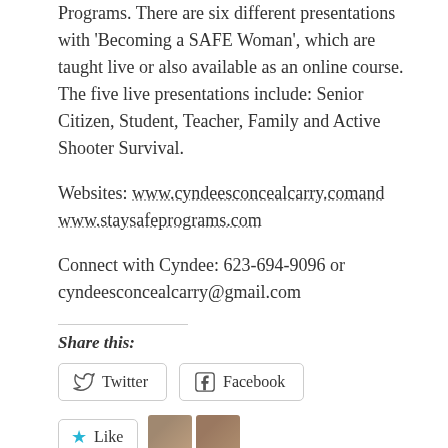Programs.  There are six different presentations with 'Becoming a SAFE Woman', which are taught live or also available as an online course.   The five live presentations include: Senior Citizen, Student, Teacher, Family and Active Shooter Survival.
Websites: www.cyndeesconcealcarry.comand www.staysafeprograms.com
Connect with Cyndee:  623-694-9096 or cyndeesconcealcarry@gmail.com
Share this:
[Figure (other): Twitter and Facebook share buttons]
[Figure (other): Like button with 2 blogger avatars and text '2 bloggers like this.']